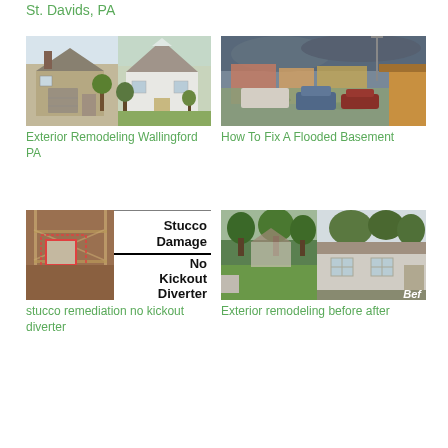St. Davids, PA
[Figure (photo): Exterior remodeling composite: two houses side by side]
Exterior Remodeling Wallingford PA
[Figure (photo): Flooded street with cars partially submerged]
How To Fix A Flooded Basement
[Figure (photo): Stucco damage composite: photo of damaged stucco on left, text panel reading Stucco Damage No Kickout Diverter on right]
stucco remediation no kickout diverter
[Figure (photo): Exterior remodeling before/after composite: green yard photo on left, house exterior on right with 'Bef' label]
Exterior remodeling before after